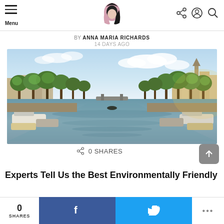Menu | Logo | Share/Account/Search icons
BY ANNA MARIA RICHARDS
14 DAYS AGO
[Figure (photo): Amsterdam canal scene with trees lining both sides, boats moored along the water, historic buildings, and a bridge in the distance under a partly cloudy sky]
0 SHARES
Experts Tell Us the Best Environmentally Friendly
0 SHARES | Facebook share | Twitter share | ...